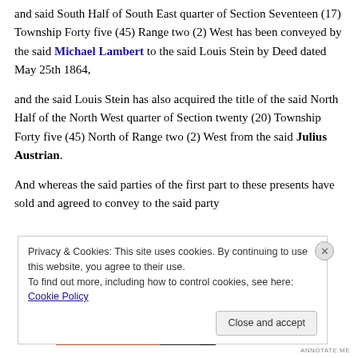and said South Half of South East quarter of Section Seventeen (17) Township Forty five (45) Range two (2) West has been conveyed by the said Michael Lambert to the said Louis Stein by Deed dated May 25th 1864,
and the said Louis Stein has also acquired the title of the said North Half of the North West quarter of Section twenty (20) Township Forty five (45) North of Range two (2) West from the said Julius Austrian.
And whereas the said parties of the first part to these presents have sold and agreed to convey to the said party
Privacy & Cookies: This site uses cookies. By continuing to use this website, you agree to their use. To find out more, including how to control cookies, see here: Cookie Policy